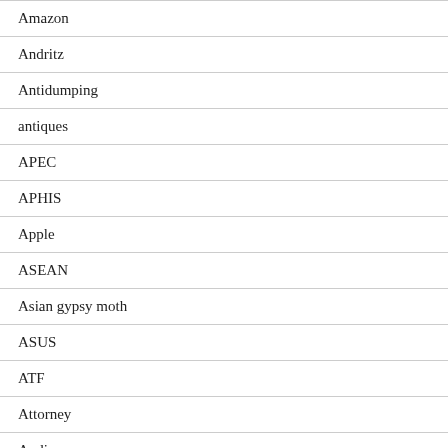| Amazon |
| Andritz |
| Antidumping |
| antiques |
| APEC |
| APHIS |
| Apple |
| ASEAN |
| Asian gypsy moth |
| ASUS |
| ATF |
| Attorney |
| Audi |
| Australia |
| Automated Commercial Environment |